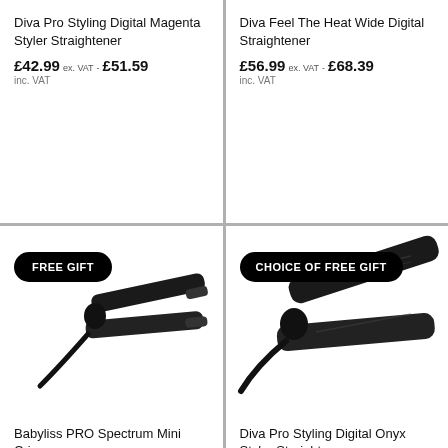Diva Pro Styling Digital Magenta Styler Straightener
£42.99 ex. VAT - £51.59 inc. VAT
Diva Feel The Heat Wide Digital Straightener
£56.99 ex. VAT - £68.39 inc. VAT
[Figure (photo): Babyliss PRO Spectrum Mini Crimper hair tool in black with FREE GIFT badge]
Babyliss PRO Spectrum Mini Crimper
£29.99 ex. VAT - £35.99
[Figure (photo): Diva Pro Styling Digital Onyx Styler Straightener in black with CHOICE OF FREE GIFT badge]
Diva Pro Styling Digital Onyx Styler Straightener
£42.99 ex. VAT - £51.59